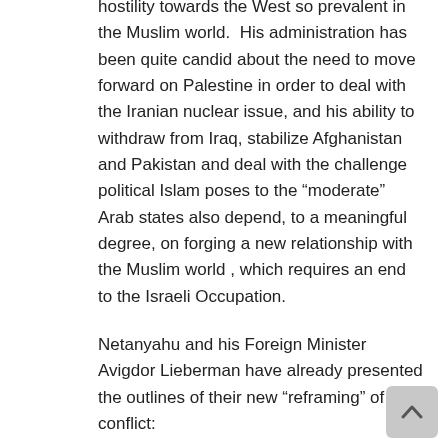hostility towards the West so prevalent in the Muslim world.  His administration has been quite candid about the need to move forward on Palestine in order to deal with the Iranian nuclear issue, and his ability to withdraw from Iraq, stabilize Afghanistan and Pakistan and deal with the challenge political Islam poses to the “moderate” Arab states also depend, to a meaningful degree, on forging a new relationship with the Muslim world , which requires an end to the Israeli Occupation.
Netanyahu and his Foreign Minister Avigdor Lieberman have already presented the outlines of their new “reframing” of the conflict:
The Iran threat is preeminent, uniting the US and Israel into a strategic alliance and completely overshadowing the Palestinian issue;
Such “slogans” (as Lieberman characterized them) as occupation, settlements, settlers, land for peace and even the “simplistic” two-state solution must be